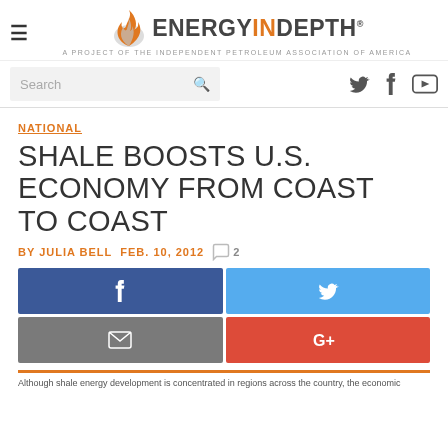ENERGYINDEPTH® — A project of the INDEPENDENT PETROLEUM ASSOCIATION OF AMERICA
Search
NATIONAL
SHALE BOOSTS U.S. ECONOMY FROM COAST TO COAST
BY JULIA BELL   FEB. 10, 2012   ⃝ 2
Share buttons: Facebook, Twitter, Email, Google+
Article snippet text beginning...